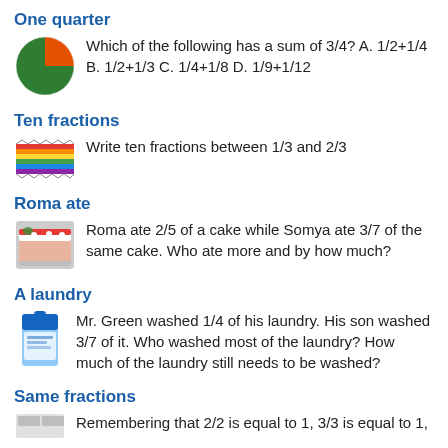One quarter
Which of the following has a sum of 3/4? A. 1/2+1/4 B. 1/2+1/3 C. 1/4+1/8 D. 1/9+1/12
Ten fractions
Write ten fractions between 1/3 and 2/3
Roma ate
Roma ate 2/5 of a cake while Somya ate 3/7 of the same cake. Who ate more and by how much?
A laundry
Mr. Green washed 1/4 of his laundry. His son washed 3/7 of it. Who washed most of the laundry? How much of the laundry still needs to be washed?
Same fractions
Remembering that 2/2 is equal to 1, 3/3 is equal to 1,